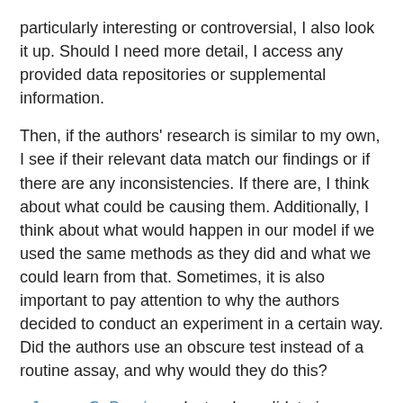particularly interesting or controversial, I also look it up. Should I need more detail, I access any provided data repositories or supplemental information.
Then, if the authors' research is similar to my own, I see if their relevant data match our findings or if there are any inconsistencies. If there are, I think about what could be causing them. Additionally, I think about what would happen in our model if we used the same methods as they did and what we could learn from that. Sometimes, it is also important to pay attention to why the authors decided to conduct an experiment in a certain way. Did the authors use an obscure test instead of a routine assay, and why would they do this?
- Jeremy C. Borniger, doctoral candidate in neuroscience at Ohio State University, Columbus
I always start with title and abstract. That tells me whether or not it's an article I'm interested in and